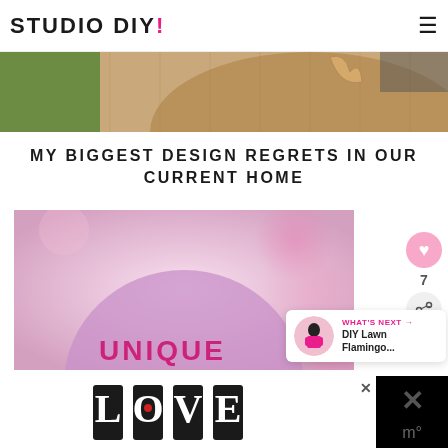STUDIO DIY!
[Figure (photo): Partial top image showing a rug and wicker chair on grass, cropped at top of page]
MY BIGGEST DESIGN REGRETS IN OUR CURRENT HOME
[Figure (photo): Pink bokeh background image with large lavender/pink circle and text UNIQUE in pink bold font]
[Figure (infographic): What's Next panel with thumbnail of person in pink outfit and text: WHAT'S NEXT → DIY Lawn Flamingo...]
[Figure (photo): Ad banner at bottom with LOVE text art illustration and X close button, black side panel with X marks]